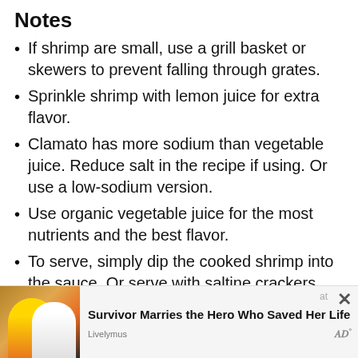Notes
If shrimp are small, use a grill basket or skewers to prevent falling through grates.
Sprinkle shrimp with lemon juice for extra flavor.
Clamato has more sodium than vegetable juice. Reduce salt in the recipe if using. Or use a low-sodium version.
Use organic vegetable juice for the most nutrients and the best flavor.
To serve, simply dip the cooked shrimp into the sauce. Or serve with saltine crackers.
How to boil shrimp:
[Figure (photo): Advertisement banner showing two people (a man and a woman) with text 'Survivor Marries the Hero Who Saved Her Life' and Livelynus branding with a close button.]